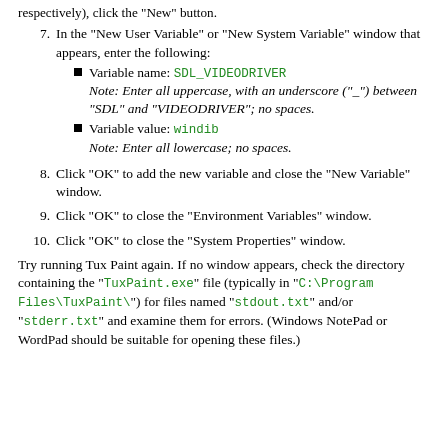7. In the "New User Variable" or "New System Variable" window that appears, enter the following:
  • Variable name: SDL_VIDEODRIVER
    Note: Enter all uppercase, with an underscore ("_") between "SDL" and "VIDEODRIVER"; no spaces.
  • Variable value: windib
    Note: Enter all lowercase; no spaces.
8. Click "OK" to add the new variable and close the "New Variable" window.
9. Click "OK" to close the "Environment Variables" window.
10. Click "OK" to close the "System Properties" window.
Try running Tux Paint again. If no window appears, check the directory containing the "TuxPaint.exe" file (typically in "C:\Program Files\TuxPaint\") for files named "stdout.txt" and/or "stderr.txt" and examine them for errors. (Windows NotePad or WordPad should be suitable for opening these files.)